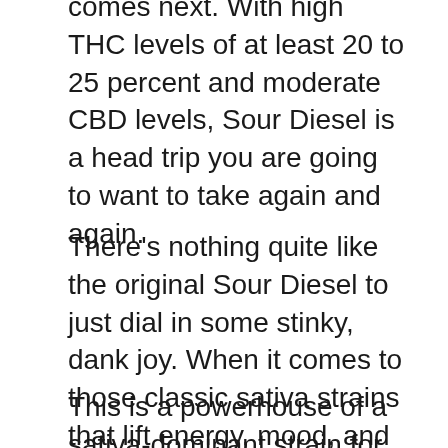comes next. With high THC levels of at least 20 to 25 percent and moderate CBD levels, Sour Diesel is a head trip you are going to want to take again and again.
There's nothing quite like the original Sour Diesel to just dial in some stinky, dank joy. When it comes to those classic sativa strains that lift energy, mood, and motivation while still relaxing stress away, there is nothing better than Sour Diesel. This is what joy would look like if it grew in plant form. This heavy-hitting euphoria will lift you off the couch and power you through everything on your list—and maybe a few extra things.
This is a powerhouse of a sativa-dominant strain for connoisseurs looking to level up...